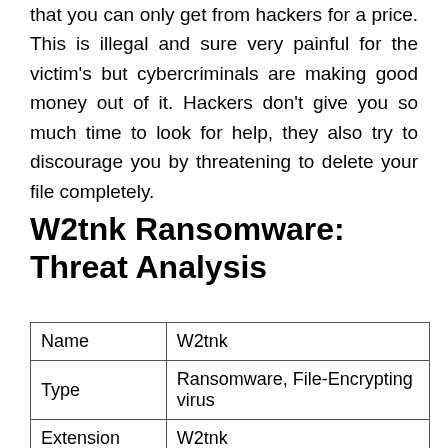that you can only get from hackers for a price. This is illegal and sure very painful for the victim's but cybercriminals are making good money out of it. Hackers don't give you so much time to look for help, they also try to discourage you by threatening to delete your file completely.
W2tnk Ransomware: Threat Analysis
| Name | W2tnk |
| Type | Ransomware, File-Encrypting virus |
| Extension | W2tnk |